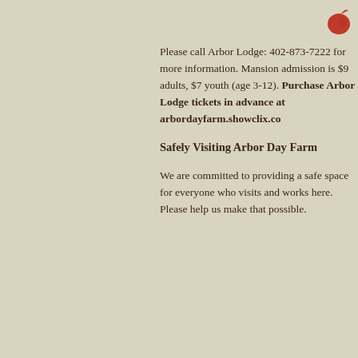[Figure (logo): Red apple/leaf icon in top right corner]
Please call Arbor Lodge: 402-873-7222 for more information. Mansion admission is $9 adults, $7 youth (age 3-12). Purchase Arbor Lodge tickets in advance at arbordayfarm.showclix.co
Safely Visiting Arbor Day Farm
We are committed to providing a safe space for everyone who visits and works here. Please help us make that possible.